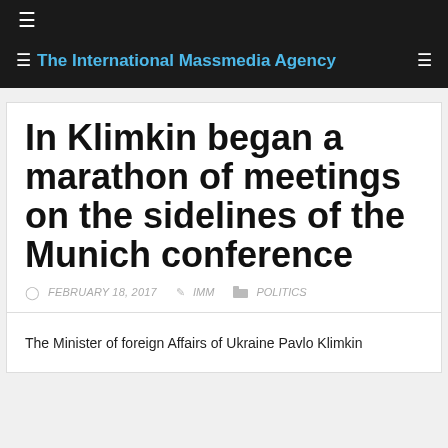The International Massmedia Agency
In Klimkin began a marathon of meetings on the sidelines of the Munich conference
FEBRUARY 18, 2017  IMM  POLITICS
The Minister of foreign Affairs of Ukraine Pavlo Klimkin